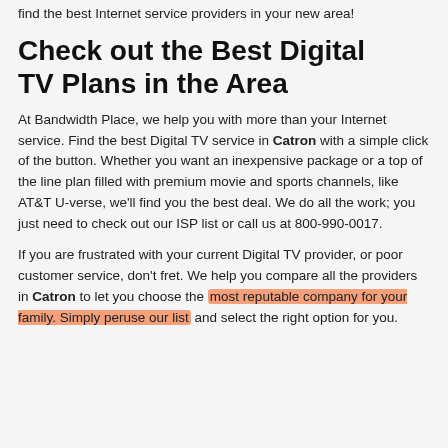find the best Internet service providers in your new area!
Check out the Best Digital TV Plans in the Area
At Bandwidth Place, we help you with more than your Internet service. Find the best Digital TV service in Catron with a simple click of the button. Whether you want an inexpensive package or a top of the line plan filled with premium movie and sports channels, like AT&T U-verse, we'll find you the best deal. We do all the work; you just need to check out our ISP list or call us at 800-990-0017.
If you are frustrated with your current Digital TV provider, or poor customer service, don't fret. We help you compare all the providers in Catron to let you choose the most reputable company for your family. Simply peruse our list and select the right option for you.